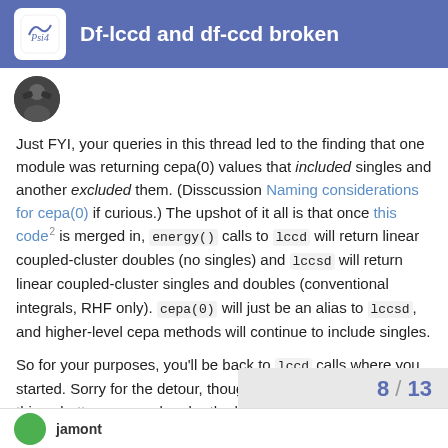Df-lccd and df-ccd broken
Just FYI, your queries in this thread led to the finding that one module was returning cepa(0) values that included singles and another excluded them. (Disscussion Naming considerations for cepa(0) if curious.) The upshot of it all is that once this code 2 is merged in, energy() calls to lccd will return linear coupled-cluster doubles (no singles) and lccsd will return linear coupled-cluster singles and doubles (conventional integrals, RHF only). cepa(0) will just be an alias to lccsd, and higher-level cepa methods will continue to include singles.
So for your purposes, you'll be back to lccd calls where you started. Sorry for the detour, though there really are many things better arranged under the hood because of it.
8 / 13
jamont